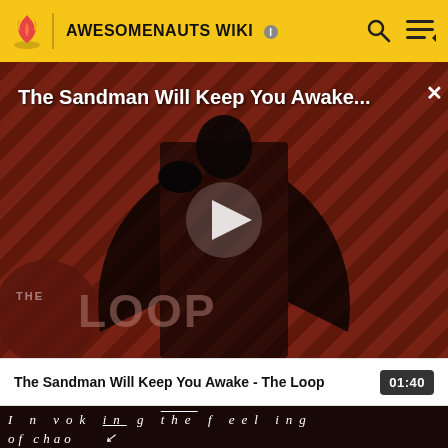AWESOMENAUTS WIKI
[Figure (screenshot): Video player showing 'The Sandman Will Keep You Awake...' with a dark figure against diagonal striped background, play button in center, THE LOOP branding at bottom left, close X button top right]
The Sandman Will Keep You Awake - The Loop   01:40
I n   vok  in  g   the  f   eel  ing   of chao   W t h  n u  t□□□o  rde r